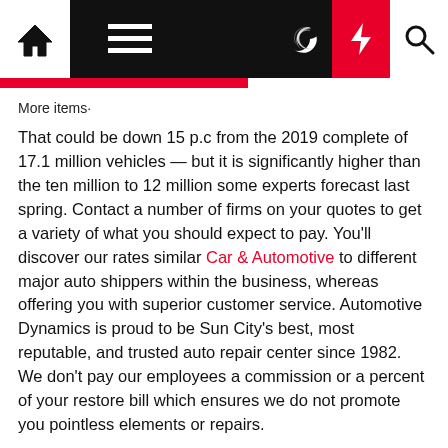Navigation bar with home, menu, moon, lightning, and search icons
More items·
That could be down 15 p.c from the 2019 complete of 17.1 million vehicles — but it is significantly higher than the ten million to 12 million some experts forecast last spring. Contact a number of firms on your quotes to get a variety of what you should expect to pay. You'll discover our rates similar Car & Automotive to different major auto shippers within the business, whereas offering you with superior customer service. Automotive Dynamics is proud to be Sun City's best, most reputable, and trusted auto repair center since 1982. We don't pay our employees a commission or a percent of your restore bill which ensures we do not promote you pointless elements or repairs.